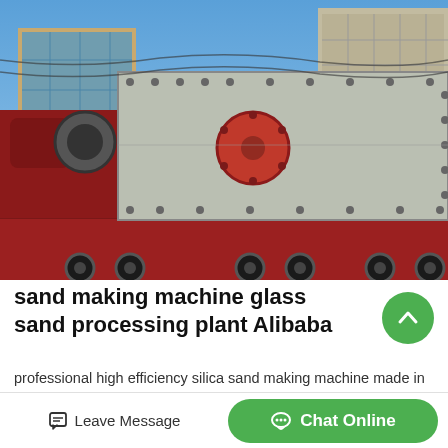[Figure (photo): A large industrial sand making machine / crusher loaded on a flatbed truck in front of industrial buildings, photographed outdoors against a blue sky.]
sand making machine glass sand processing plant Alibaba
professional high efficiency silica sand making machine made in China 1 Set MinOrder 800000 Set mining
Leave Message  Chat Online